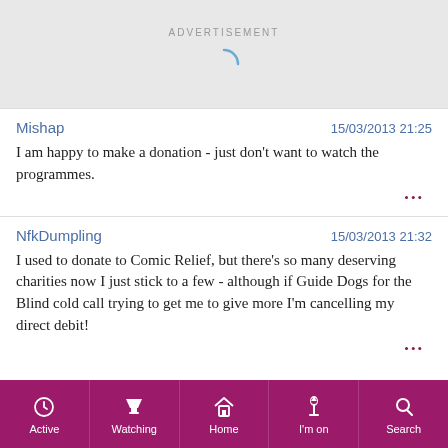[Figure (other): Advertisement banner with loading spinner on grey background]
Mishap	15/03/2013 21:25
I am happy to make a donation - just don't want to watch the programmes.
NfkDumpling	15/03/2013 21:32
I used to donate to Comic Relief, but there's so many deserving charities now I just stick to a few - although if Guide Dogs for the Blind cold call trying to get me to give more I'm cancelling my direct debit!
Active | Watching | Home | I'm on | Search